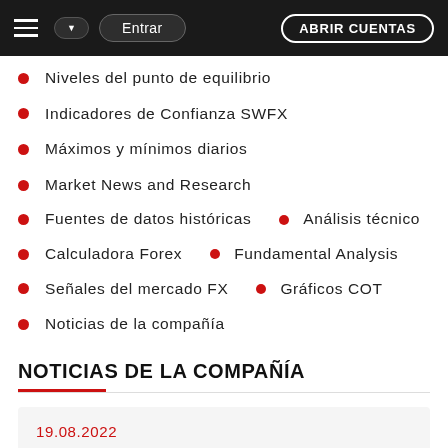Entrar | ABRIR CUENTAS
Niveles del punto de equilibrio
Indicadores de Confianza SWFX
Máximos y mínimos diarios
Market News and Research
Fuentes de datos históricas · Análisis técnico
Calculadora Forex · Fundamental Analysis
Señales del mercado FX · Gráficos COT
Noticias de la compañía
NOTICIAS DE LA COMPAÑÍA
19.08.2022